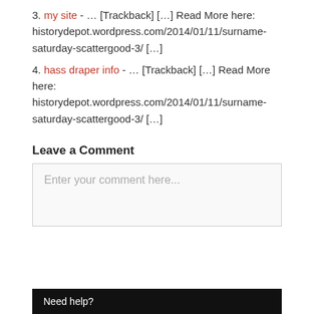3. my site - … [Trackback] […] Read More here: historydepot.wordpress.com/2014/01/11/surname-saturday-scattergood-3/ […]
4. hass draper info - … [Trackback] […] Read More here: historydepot.wordpress.com/2014/01/11/surname-saturday-scattergood-3/ […]
Leave a Comment
Enter your comment here...
Need help?